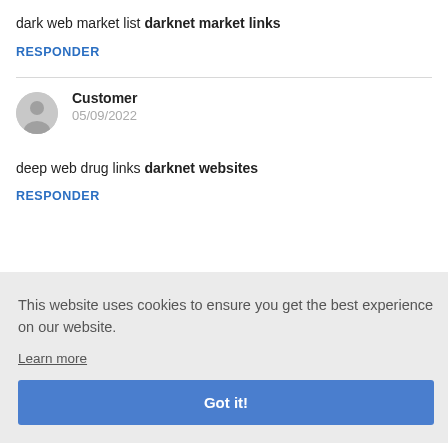dark web market list darknet market links
RESPONDER
Customer
05/09/2022
deep web drug links darknet websites
RESPONDER
This website uses cookies to ensure you get the best experience on our website.
Learn more
Got it!